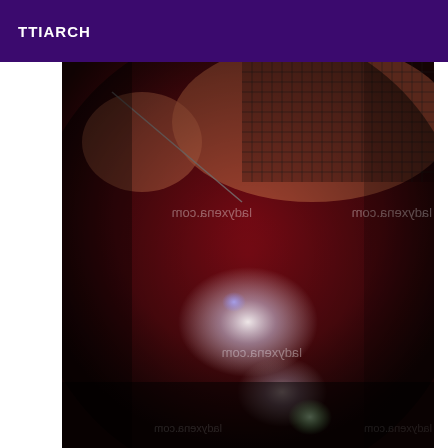TTIARCH
[Figure (photo): Dark red-toned photograph showing a person in fishnet stockings and black straps, holding a riding crop or whip, with watermarks reading 'ladyxena.com' overlaid multiple times at various angles across the image. The lower portion shows lens flare effects in white, blue, and green.]